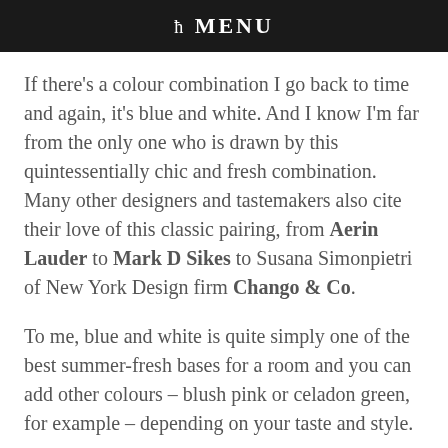ħ MENU
If there's a colour combination I go back to time and again, it's blue and white. And I know I'm far from the only one who is drawn by this quintessentially chic and fresh combination. Many other designers and tastemakers also cite their love of this classic pairing, from Aerin Lauder to Mark D Sikes to Susana Simonpietri of New York Design firm Chango & Co.
To me, blue and white is quite simply one of the best summer-fresh bases for a room and you can add other colours – blush pink or celadon green, for example – depending on your taste and style.